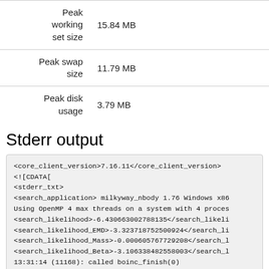| Peak working set size | 15.84 MB |
| Peak swap size | 11.79 MB |
| Peak disk usage | 3.79 MB |
Stderr output
<core_client_version>7.16.11</core_client_version>
<![CDATA[
<stderr_txt>
<search_application> milkyway_nbody 1.76 Windows x86
Using OpenMP 4 max threads on a system with 4 proces
<search_likelihood>-6.430663002788135</search_likeli
<search_likelihood_EMD>-3.323718752500924</search_li
<search_likelihood_Mass>-0.000605767729208</search_l
<search_likelihood_Beta>-3.106338482558003</search_l
13:31:14 (11168): called boinc_finish(0)